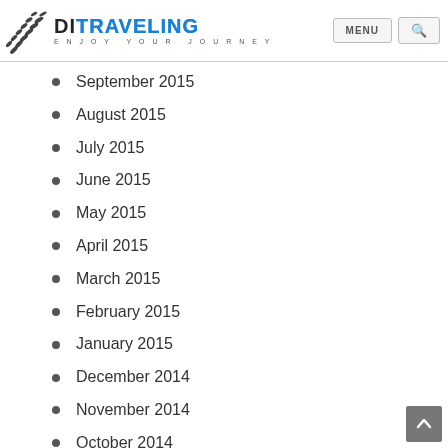DITRAVELING - ENJOY YOUR JOURNEY
September 2015
August 2015
July 2015
June 2015
May 2015
April 2015
March 2015
February 2015
January 2015
December 2014
November 2014
October 2014